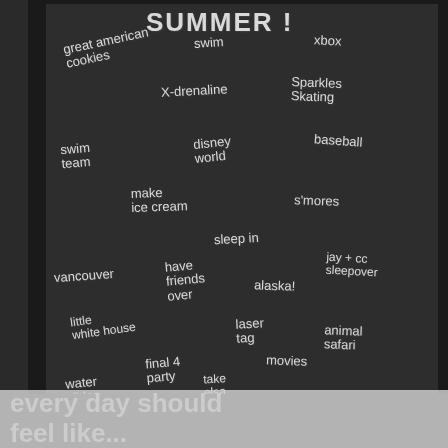SUMMER !
great american cookies
Swim
xbox
X-drenaline
Sparkles Skating
swim team
disney world
baseball
make ice cream
s'mores
sleep in
vancouver
have friends over
alaska!
jay + cc sleepover
little white house
laser tag
animal safari
final 4 party
movies
water slides
take elsa swimming
every day should feel like...